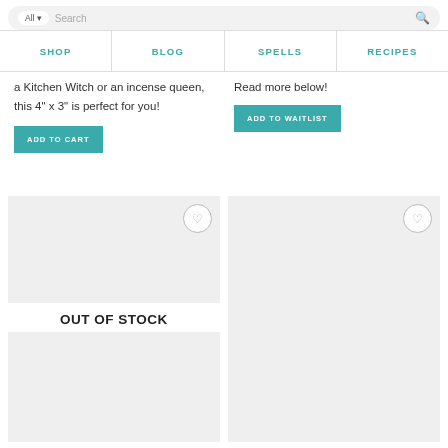Search bar with All dropdown and search icon
SHOP | BLOG | SPELLS | RECIPES
a Kitchen Witch or an incense queen, this 4" x 3" is perfect for you!
Read more below!
ADD TO CART
ADD TO WAITLIST
OUT OF STOCK